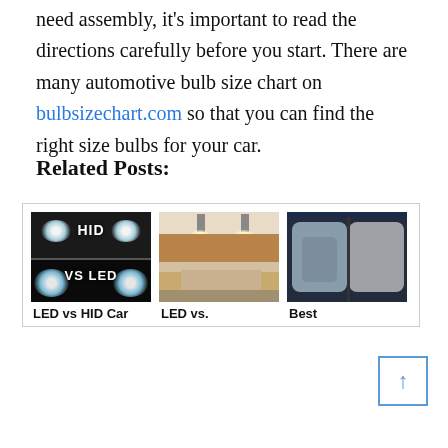need assembly, it's important to read the directions carefully before you start. There are many automotive bulb size chart on bulbsizechart.com so that you can find the right size bulbs for your car.
Related Posts:
[Figure (photo): Three related post cards with images: 1) HID vs LED car headlights photo, 2) LED vs kitchen/indoor lighting photo, 3) Best headlight restoration photo]
LED vs HID Car
LED vs.
Best